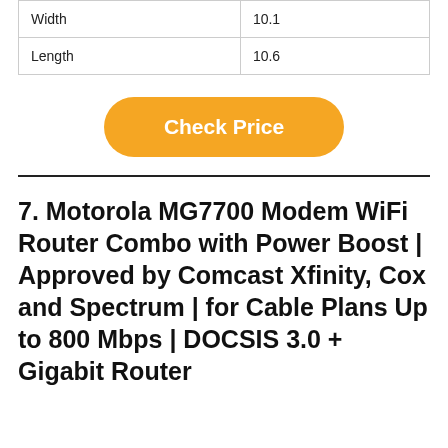| Width | 10.1 |
| Length | 10.6 |
[Figure (other): Orange 'Check Price' button]
7. Motorola MG7700 Modem WiFi Router Combo with Power Boost | Approved by Comcast Xfinity, Cox and Spectrum | for Cable Plans Up to 800 Mbps | DOCSIS 3.0 + Gigabit Router